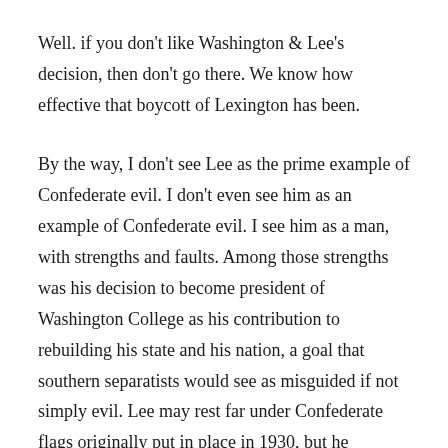Well. if you don't like Washington & Lee's decision, then don't go there. We know how effective that boycott of Lexington has been.
By the way, I don't see Lee as the prime example of Confederate evil. I don't even see him as an example of Confederate evil. I see him as a man, with strengths and faults. Among those strengths was his decision to become president of Washington College as his contribution to rebuilding his state and his nation, a goal that southern separatists would see as misguided if not simply evil. Lee may rest far under Confederate flags originally put in place in 1930, but he breathed his last under the flag of the United States (h/t to Ulysses Dietz).
But Connie may continue to tell us why people do what